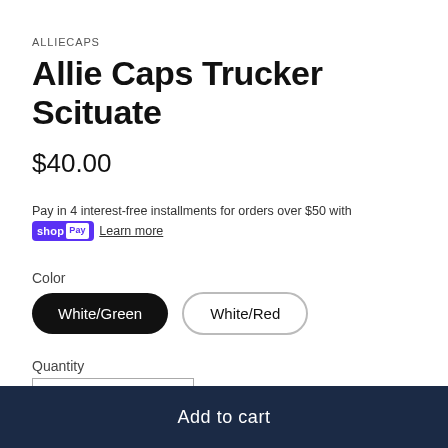ALLIECAPS
Allie Caps Trucker Scituate
$40.00
Pay in 4 interest-free installments for orders over $50 with shop Pay Learn more
Color
White/Green
White/Red
Quantity
− 1 +
Add to cart